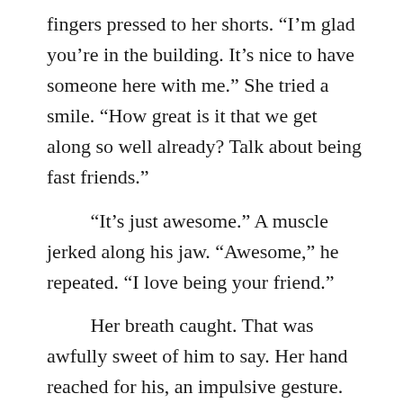fingers pressed to her shorts. “I’m glad you’re in the building. It’s nice to have someone here with me.” She tried a smile. “How great is it that we get along so well already? Talk about being fast friends.”

“It’s just awesome.” A muscle jerked along his jaw. “Awesome,” he repeated. “I love being your friend.”

Her breath caught. That was awfully sweet of him to say. Her hand reached for his, an impulsive gesture. His fingers were rough and strong and about twice the size of hers. She still squeezed them gently. “Thank you. That’s the kindest thing anyone has said to me in a very long time.” Far